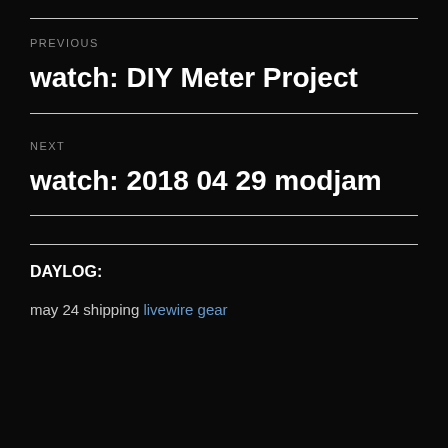PREVIOUS
watch: DIY Meter Project
NEXT
watch: 2018 04 29 modjam
DAYLOG:
may 24 shipping livewire gear